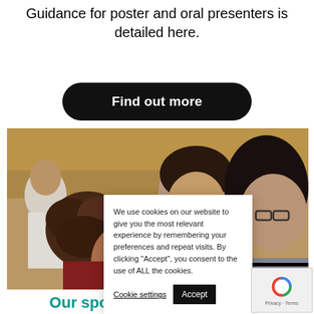Guidance for poster and oral presenters is detailed here.
[Figure (other): Black rounded rectangle button with white bold text 'Find out more']
[Figure (photo): A group of people at a conference or event, showing several women in conversation, one with curly brown hair in the foreground, one with glasses in the middle, and others in the background.]
We use cookies on our website to give you the most relevant experience by remembering your preferences and repeat visits. By clicking “Accept”, you consent to the use of ALL the cookies.
Cookie settings
Accept
Our sponsors, exhibitors and